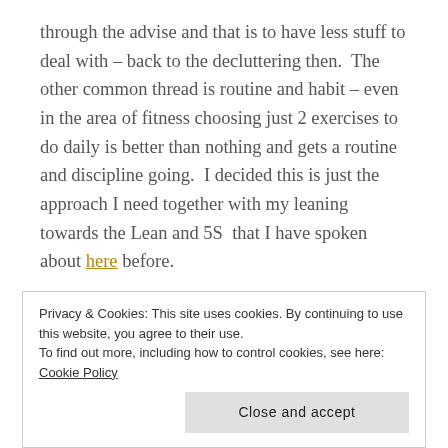through the advise and that is to have less stuff to deal with – back to the decluttering then.  The other common thread is routine and habit – even in the area of fitness choosing just 2 exercises to do daily is better than nothing and gets a routine and discipline going.  I decided this is just the approach I need together with my leaning towards the Lean and 5S  that I have spoken about here before.
To get stuck in on my first designated cleaning day I
Privacy & Cookies: This site uses cookies. By continuing to use this website, you agree to their use.
To find out more, including how to control cookies, see here: Cookie Policy